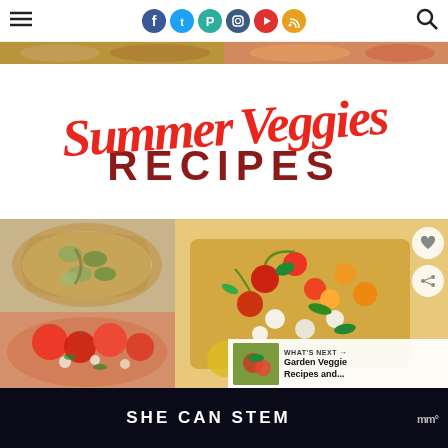Navigation bar with hamburger menu, social icons (Facebook, Twitter, Pinterest, Instagram, YouTube, RSS), and search icon
[Figure (photo): Collage of food photos at top of page — zucchini galette on left, tomato caprese salad on right]
Summer Veggies RECIPES
[Figure (photo): 2x2 food photo collage: zucchini galette (top left), tomato basil caprese salad (top right and center right), fresh tomato salad (bottom left)]
WHAT'S NEXT → Garden Veggie Recipes and...
SHE CAN STEM